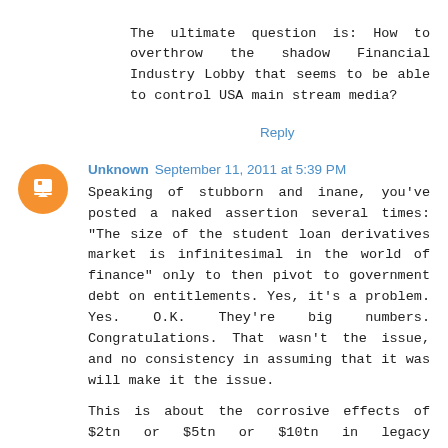The ultimate question is: How to overthrow the shadow Financial Industry Lobby that seems to be able to control USA main stream media?
Reply
Unknown  September 11, 2011 at 5:39 PM
Speaking of stubborn and inane, you've posted a naked assertion several times: "The size of the student loan derivatives market is infinitesimal in the world of finance" only to then pivot to government debt on entitlements. Yes, it's a problem. Yes. O.K. They're big numbers. Congratulations. That wasn't the issue, and no consistency in assuming that it was will make it the issue.
This is about the corrosive effects of $2tn or $5tn or $10tn in legacy derivatives on lending institutions, then the economy and on a consumer economy which has once again locked the productive members of the market (in our case, unfortunately, consumers) into a position in which they can't participate. Jesus.